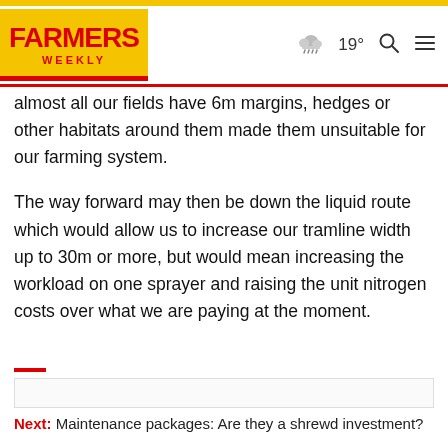FARMERS WEEKLY | 19° weather
almost all our fields have 6m margins, hedges or other habitats around them made them unsuitable for our farming system.
The way forward may then be down the liquid route which would allow us to increase our tramline width up to 30m or more, but would mean increasing the workload on one sprayer and raising the unit nitrogen costs over what we are paying at the moment.
Next: Maintenance packages: Are they a shrewd investment?